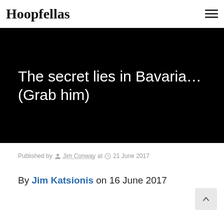Hoopfellas
The secret lies in Bavaria… (Grab him)
Published by Jim Conway at 21 June 2017
By Jim Katsionis on 16 June 2017